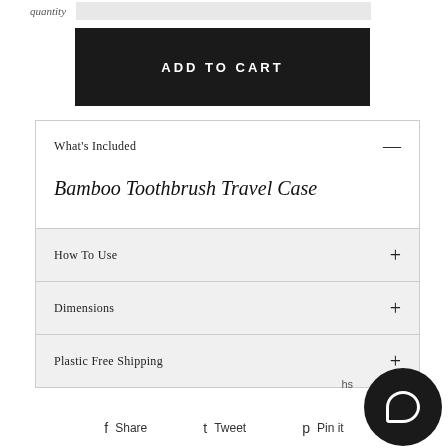quantity
ADD TO CART
What's Included
Bamboo Toothbrush Travel Case
How To Use
Dimensions
Plastic Free Shipping
Share  Tweet  Pin it